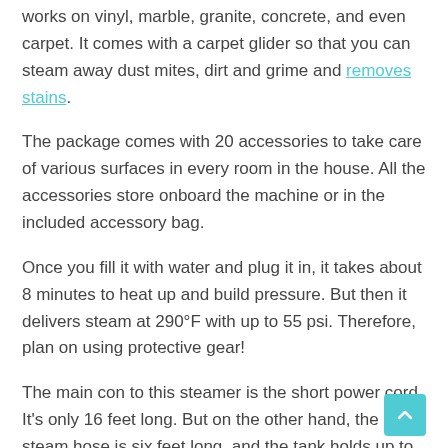works on vinyl, marble, granite, concrete, and even carpet. It comes with a carpet glider so that you can steam away dust mites, dirt and grime and removes stains.
The package comes with 20 accessories to take care of various surfaces in every room in the house. All the accessories store onboard the machine or in the included accessory bag.
Once you fill it with water and plug it in, it takes about 8 minutes to heat up and build pressure. But then it delivers steam at 290°F with up to 55 psi. Therefore, plan on using protective gear!
The main con to this steamer is the short power cord. It's only 16 feet long. But on the other hand, the steam hose is six feet long, and the tank holds up to 40 ounces of distilled water.